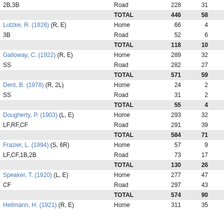| Player/Position | Venue | AB | R | H |
| --- | --- | --- | --- | --- |
| 2B,3B | Road | 228 | 31 | 60 |
|  | TOTAL | 446 | 58 | 123 |
| Lutzke, R. (1926) (R, E) | Home | 66 | 4 | 17 |
| 3B | Road | 52 | 6 | 15 |
|  | TOTAL | 118 | 10 | 32 |
| Galloway, C. (1922) (R, E) | Home | 289 | 32 | 75 |
| SS | Road | 282 | 27 | 61 |
|  | TOTAL | 571 | 59 | 136 |
| Dent, B. (1978) (R, 2L) | Home | 24 | 2 | 1 |
| SS | Road | 31 | 2 | 7 |
|  | TOTAL | 55 | 4 | 8 |
| Dougherty, P. (1903) (L, E) | Home | 293 | 32 | 81 |
| LF,RF,CF | Road | 291 | 39 | 91 |
|  | TOTAL | 584 | 71 | 172 |
| Frazier, L. (1994) (S, 6R) | Home | 57 | 9 | 11 |
| LF,CF,1B,2B | Road | 73 | 17 | 18 |
|  | TOTAL | 130 | 26 | 29 |
| Speaker, T. (1920) (L, E) | Home | 277 | 47 | 88 |
| CF | Road | 297 | 43 | 95 |
|  | TOTAL | 574 | 90 | 183 |
| Heilmann, H. (1921) (R, E) | Home | 311 | 35 | 100 |